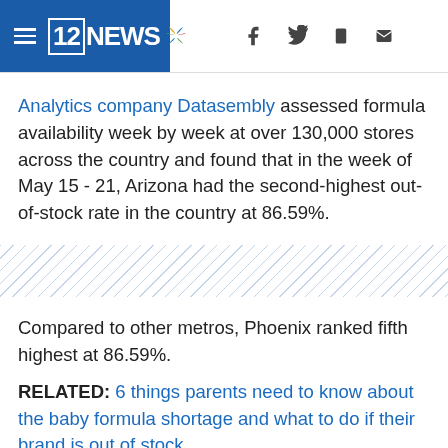12NEWS
Analytics company Datasembly assessed formula availability week by week at over 130,000 stores across the country and found that in the week of May 15 - 21, Arizona had the second-highest out-of-stock rate in the country at 86.59%.
[Figure (other): Diagonal striped divider pattern]
Compared to other metros, Phoenix ranked fifth highest at 86.59%.
RELATED: 6 things parents need to know about the baby formula shortage and what to do if their brand is out of stock
“It makes me really sad and emotional for people because